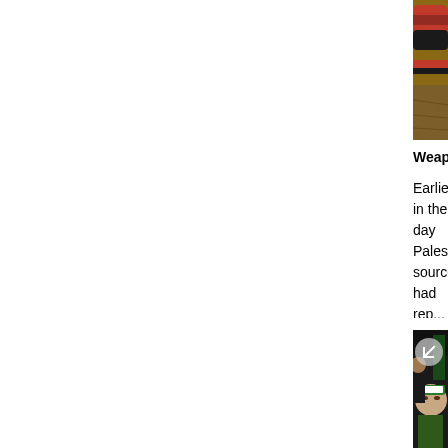[Figure (photo): Top portion of photo showing weapons/tools with red and black handles on a brown surface]
Weapons found in arrestees' possession
Earlier in the day Palestinian sources had reported the arrest of Kais Sa'adi, a senior member of Hamas's military wing. Sa'adi is said to reside in Jenin's refugee camp, and had been arrested by Israel on several occasions. Sa'adi was arrested in a vehicle and was found to be in possession of several weapons.
[Figure (photo): Photo of a man wearing a green Hamas headband with Arabic writing, surrounded by other people, appears to be at a gathering or rally]